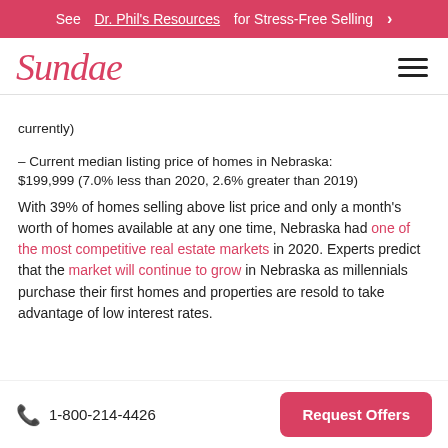See Dr. Phil's Resources for Stress-Free Selling ›
[Figure (logo): Sundae logo in cursive red text with hamburger menu icon]
currently)
– Current median listing price of homes in Nebraska: $199,999 (7.0% less than 2020, 2.6% greater than 2019)
With 39% of homes selling above list price and only a month's worth of homes available at any one time, Nebraska had one of the most competitive real estate markets in 2020. Experts predict that the market will continue to grow in Nebraska as millennials purchase their first homes and properties are resold to take advantage of low interest rates.
1-800-214-4426  Request Offers